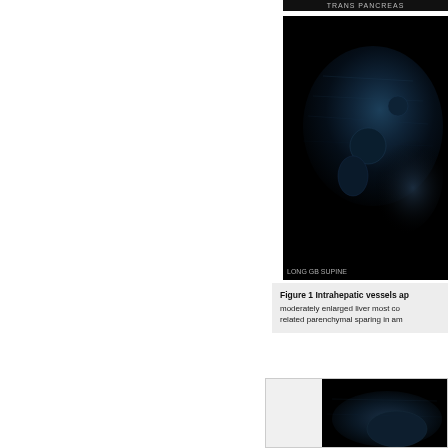[Figure (photo): Ultrasound image labeled TRANS PANCREAS - black background with grayscale ultrasound imaging of pancreas, partially visible on right side of page]
[Figure (photo): Ultrasound image labeled LONG GB SUPINE - black background with grayscale ultrasound imaging of gallbladder in longitudinal supine view]
Figure 1 Intrahepatic vessels ap moderately enlarged liver most co related parenchymal sparing in am
[Figure (photo): Second ultrasound image partially visible at bottom right of page]